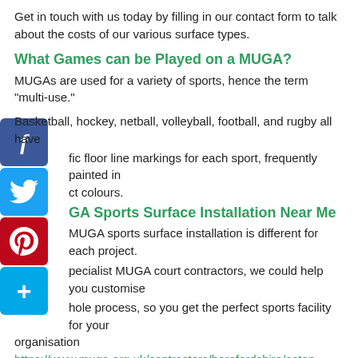Get in touch with us today by filling in our contact form to talk about the costs of our various surface types.
What Games can be Played on a MUGA?
MUGAs are used for a variety of sports, hence the term "multi-use."
Basketball, hockey, netball, volleyball, football, and rugby all have fic floor line markings for each sport, frequently painted in ct colours.
GA Sports Surface Installation Near Me
MUGA sports surface installation is different for each project.
pecialist MUGA court contractors, we could help you customise hole process, so you get the perfect sports facility for your organisation https://www.muga.org.uk/contractors/herefordshire/aston-crews/.
As well as the surfacing installation, we can also include extra features such as fencing and floodlights with the construction of a MUGA court to ensure you get the most out of a sports facility.